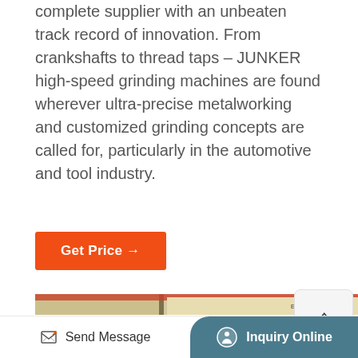complete supplier with an unbeaten track record of innovation. From crankshafts to thread taps – JUNKER high-speed grinding machines are found wherever ultra-precise metalworking and customized grinding concepts are called for, particularly in the automotive and tool industry.
[Figure (other): Orange 'Get Price →' button]
[Figure (photo): Industrial machinery — large cream/beige cylindrical grinding machine with red band at top and a label reading 'EGYPT', photographed in a factory setting]
[Figure (other): TOP navigation button with upward chevron arrow]
Send Message   Inquiry Online